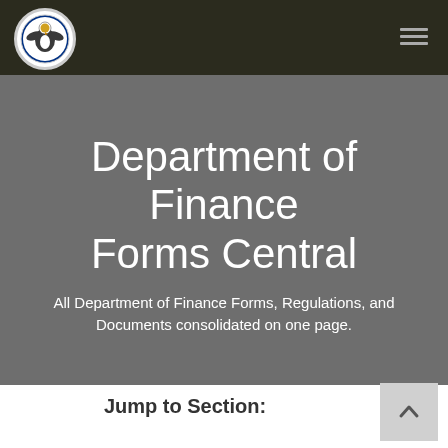Department of Finance Forms Central — site header with logo and navigation
Department of Finance Forms Central
All Department of Finance Forms, Regulations, and Documents consolidated on one page.
Jump to Section: